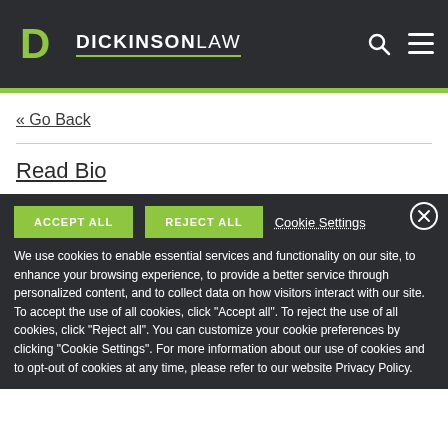DICKINSONLAW
« Go Back
Read Bio
ACCEPT ALL   REJECT ALL   Cookie Settings
We use cookies to enable essential services and functionality on our site, to enhance your browsing experience, to provide a better service through personalized content, and to collect data on how visitors interact with our site. To accept the use of all cookies, click "Accept all". To reject the use of all cookies, click "Reject all". You can customize your cookie preferences by clicking "Cookie Settings". For more information about our use of cookies and to opt-out of cookies at any time, please refer to our website Privacy Policy.